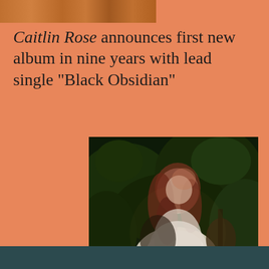[Figure (photo): Partial top crop of a photo showing warm orange/brown tones, appears to be a person or landscape]
Caitlin Rose announces first new album in nine years with lead single "Black Obsidian"
[Figure (photo): Photo of Holly Humberstone, a woman with long reddish-auburn hair holding a guitar, photographed outdoors at night against dark green foliage with dramatic lighting]
Holly Humberstone shares garden version of "Scarlett"